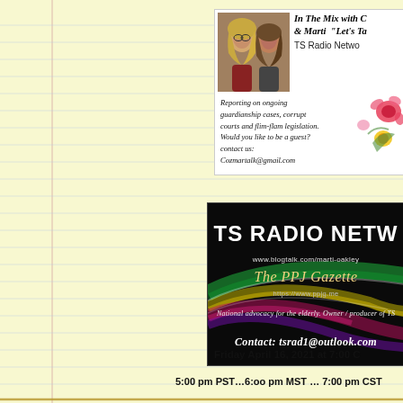[Figure (illustration): Ad banner for 'In The Mix with C & Marti Let's Talk' on TS Radio Network. Shows two women's photo on left, italic text on right describing the show. Bottom text: Reporting on ongoing guardianship cases, corrupt courts and flim-flam legislation. Would you like to be a guest? contact us: Cozmartalk@gmail.com. Flower decoration in background.]
[Figure (illustration): TS Radio Network banner with colorful light streaks on dark background. Text: TS RADIO NETWO... www.blogtalk.com/marti-oakley, The PPJ Gazette, https://www.ppjg.me, National advocacy for the elderly. Owner/producer of TS... Contact: tsrad1@outlook.com]
Friday April 16, 2021 at 7:00 C
5:00 pm PST…6:oo pm MST … 7:00 pm CST